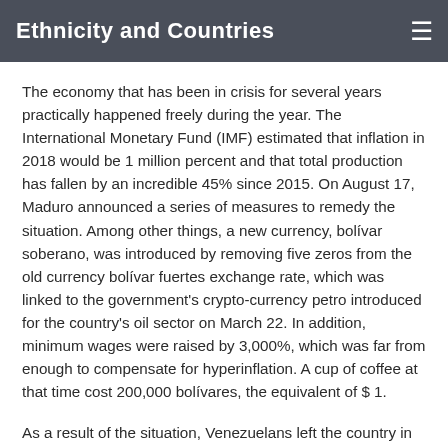Ethnicity and Countries
The economy that has been in crisis for several years practically happened freely during the year. The International Monetary Fund (IMF) estimated that inflation in 2018 would be 1 million percent and that total production has fallen by an incredible 45% since 2015. On August 17, Maduro announced a series of measures to remedy the situation. Among other things, a new currency, bolívar soberano, was introduced by removing five zeros from the old currency bolívar fuertes exchange rate, which was linked to the government's crypto-currency petro introduced for the country's oil sector on March 22. In addition, minimum wages were raised by 3,000%, which was far from enough to compensate for hyperinflation. A cup of coffee at that time cost 200,000 bolívares, the equivalent of $ 1.
As a result of the situation, Venezuelans left the country in large numbers. UN refugee agency UNHCR reported in August that 1.6 million people have left the country since 2015, mainly to Colombia. Between 500 and 900 Venezuelans were estimated to have moved to